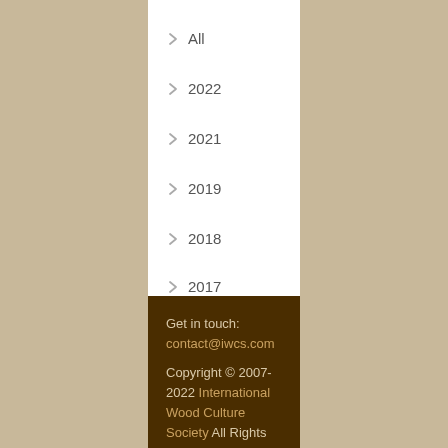All
2022
2021
2019
2018
2017
2016
2015
2014
2012
2011
Get in touch: contact@iwcs.com
Copyright © 2007-2022 International Wood Culture Society All Rights Reserved.